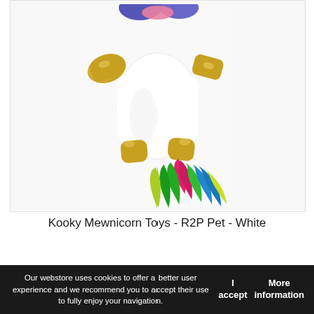[Figure (photo): Photo of a Kooky Mewnicorn cat toy - a white plush unicorn-style toy with gold metallic hooves/wings, colorful rainbow feather tail in pink, green, blue and yellow, and a decorative face with blue elements at the top. White background product photo.]
Kooky Mewnicorn Toys - R2P Pet - White
Our webstore uses cookies to offer a better user experience and we recommend you to accept their use to fully enjoy your navigation.
I accept
More information